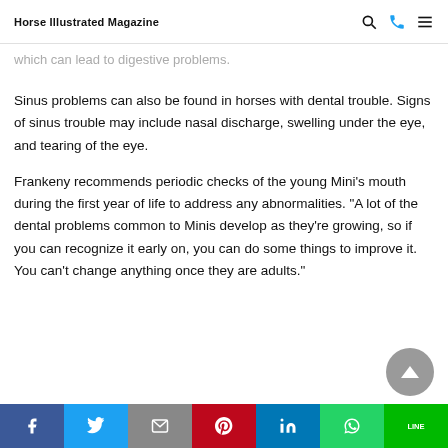Horse Illustrated Magazine
which can lead to digestive problems.
Sinus problems can also be found in horses with dental trouble. Signs of sinus trouble may include nasal discharge, swelling under the eye, and tearing of the eye.
Frankeny recommends periodic checks of the young Mini’s mouth during the first year of life to address any abnormalities. “A lot of the dental problems common to Minis develop as they’re growing, so if you can recognize it early on, you can do some things to improve it. You can't change anything once they are adults.”
Facebook Twitter Email Pinterest LinkedIn WhatsApp LINE